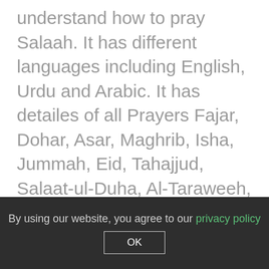understand how to pray Salaah. It has different languages including English, Urdu and Arabic. It has detailes of all Prayers Fajar, Dohar, Asar, Maghrib, Isha, Jummah, Eid, Tahajjud, Salaat-ul-Duha, Al-Taraweeh, Jinnazah, Qada and Isikhara.At difference occasions, that can be used as a hands on reference at any time before or during prayers. It's also great for the learning of children. Parents can easily convey the rules of Namaz by the easy way of picture descriptions of each and every step. Before conducting Salah, a Muslim has to perform a ritual Ablution. So this application contains all
By using our website, you agree to our privacy policy OK